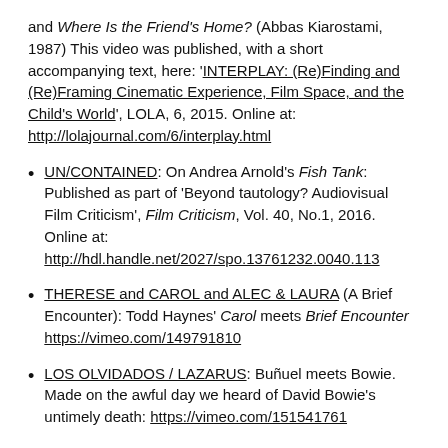and Where Is the Friend's Home? (Abbas Kiarostami, 1987) This video was published, with a short accompanying text, here: 'INTERPLAY: (Re)Finding and (Re)Framing Cinematic Experience, Film Space, and the Child's World', LOLA, 6, 2015. Online at: http://lolajournal.com/6/interplay.html
UN/CONTAINED: On Andrea Arnold's Fish Tank: Published as part of 'Beyond tautology? Audiovisual Film Criticism', Film Criticism, Vol. 40, No.1, 2016. Online at: http://hdl.handle.net/2027/spo.13761232.0040.113
THERESE and CAROL and ALEC & LAURA (A Brief Encounter): Todd Haynes' Carol meets Brief Encounter https://vimeo.com/149791810
LOS OLVIDADOS / LAZARUS: Buñuel meets Bowie. Made on the awful day we heard of David Bowie's untimely death: https://vimeo.com/151541761